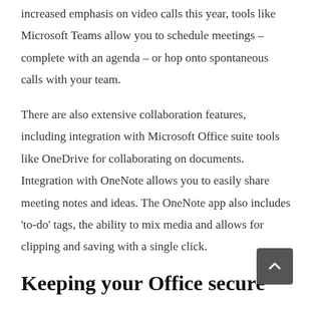increased emphasis on video calls this year, tools like Microsoft Teams allow you to schedule meetings – complete with an agenda – or hop onto spontaneous calls with your team.
There are also extensive collaboration features, including integration with Microsoft Office suite tools like OneDrive for collaborating on documents. Integration with OneNote allows you to easily share meeting notes and ideas. The OneNote app also includes 'to-do' tags, the ability to mix media and allows for clipping and saving with a single click.
Keeping your Office secure